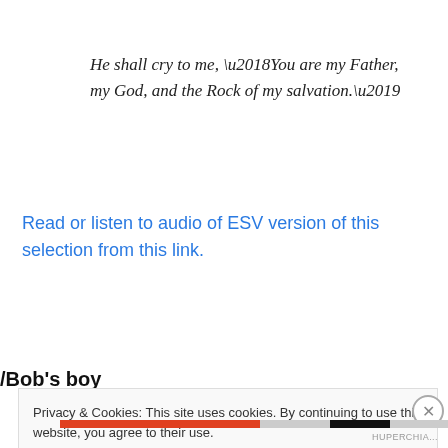He shall cry to me, ‘You are my Father, my God, and the Rock of my salvation.’
Read or listen to audio of ESV version of this selection from this link.
/Bob’s boy
Privacy & Cookies: This site uses cookies. By continuing to use this website, you agree to their use.
To find out more, including how to control cookies, see here: Cookie Policy